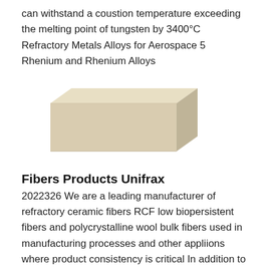can withstand a coustion temperature exceeding the melting point of tungsten by 3400°C Refractory Metals Alloys for Aerospace 5 Rhenium and Rhenium Alloys
[Figure (photo): A photograph of a light tan/cream colored refractory brick or insulating block, shown in a three-quarter perspective view against a white background.]
Fibers Products Unifrax
2022326 We are a leading manufacturer of refractory ceramic fibers RCF low biopersistent fibers and polycrystalline wool bulk fibers used in manufacturing processes and other appliions where product consistency is critical In addition to our topselling Fiberfrax® Insulfrax® and Isofrax® bulk fibers we also have the ability to produce many